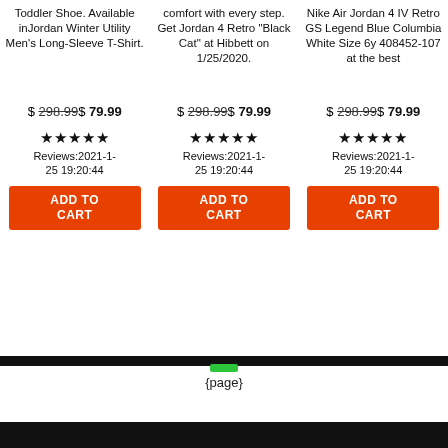Toddler Shoe. Available inJordan Winter Utility Men's Long-Sleeve T-Shirt.
$ 298.99$ 79.99
★★★★★ Reviews:2021-1-25 19:20:44
ADD TO CART
comfort with every step. Get Jordan 4 Retro "Black Cat" at Hibbett on 1/25/2020.
$ 298.99$ 79.99
★★★★★ Reviews:2021-1-25 19:20:44
ADD TO CART
Nike Air Jordan 4 IV Retro GS Legend Blue Columbia White Size 6y 408452-107 at the best
$ 298.99$ 79.99
★★★★★ Reviews:2021-1-25 19:20:44
ADD TO CART
{page}